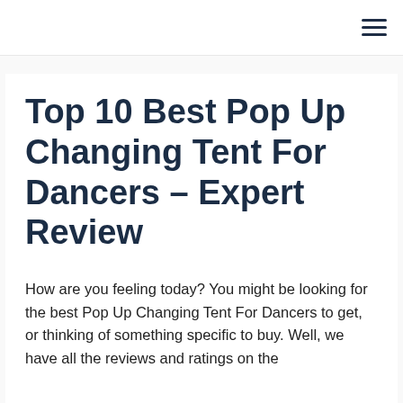≡
Top 10 Best Pop Up Changing Tent For Dancers – Expert Review
How are you feeling today? You might be looking for the best Pop Up Changing Tent For Dancers to get, or thinking of something specific to buy. Well, we have all thereviws and ratings on the